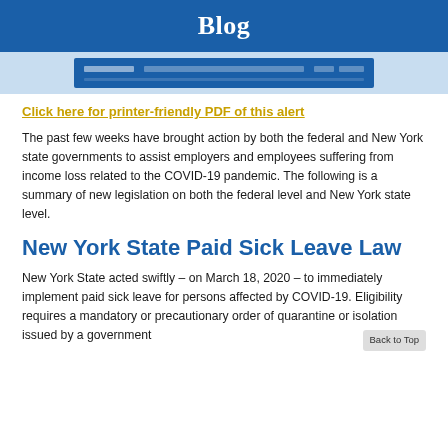Blog
[Figure (screenshot): Screenshot of a webpage with a blue navigation bar]
Click here for printer-friendly PDF of this alert
The past few weeks have brought action by both the federal and New York state governments to assist employers and employees suffering from income loss related to the COVID-19 pandemic. The following is a summary of new legislation on both the federal level and New York state level.
New York State Paid Sick Leave Law
New York State acted swiftly – on March 18, 2020 – to immediately implement paid sick leave for persons affected by COVID-19. Eligibility requires a mandatory or precautionary order of quarantine or isolation issued by a government